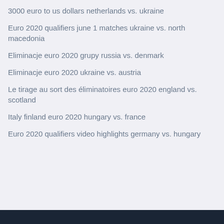3000 euro to us dollars netherlands vs. ukraine
Euro 2020 qualifiers june 1 matches ukraine vs. north macedonia
Eliminacje euro 2020 grupy russia vs. denmark
Eliminacje euro 2020 ukraine vs. austria
Le tirage au sort des éliminatoires euro 2020 england vs. scotland
Italy finland euro 2020 hungary vs. france
Euro 2020 qualifiers video highlights germany vs. hungary